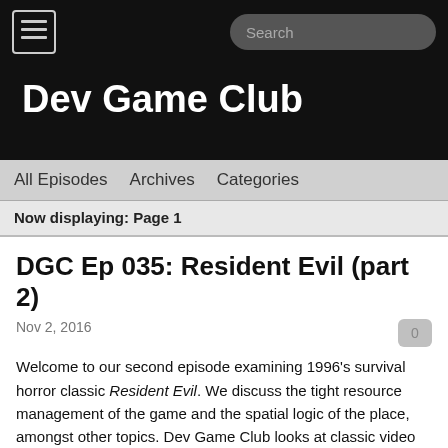Dev Game Club
All Episodes   Archives   Categories
Now displaying: Page 1
DGC Ep 035: Resident Evil (part 2)
Nov 2, 2016
Welcome to our second episode examining 1996's survival horror classic Resident Evil. We discuss the tight resource management of the game and the spatial logic of the place, amongst other topics. Dev Game Club looks at classic video games and plays through them over several episodes, providing commentary.
Sections played: Up to the tunnels (in theory)